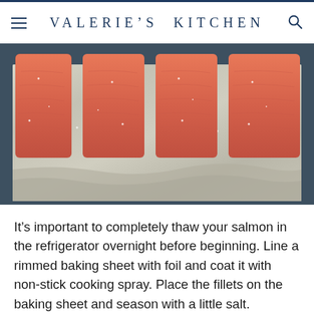VALERIE'S KITCHEN
[Figure (photo): Four salmon fillets placed on a foil-lined rimmed baking sheet, viewed from above. The salmon pieces are reddish-orange and appear seasoned with salt. The baking sheet is lined with silver aluminum foil.]
It's important to completely thaw your salmon in the refrigerator overnight before beginning. Line a rimmed baking sheet with foil and coat it with non-stick cooking spray. Place the fillets on the baking sheet and season with a little salt.